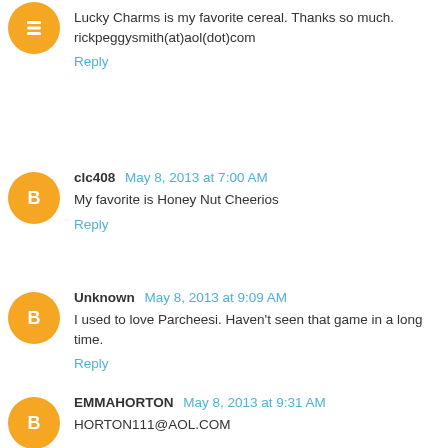Lucky Charms is my favorite cereal. Thanks so much. rickpeggysmith(at)aol(dot)com
Reply
clc408 May 8, 2013 at 7:00 AM
My favorite is Honey Nut Cheerios
Reply
Unknown May 8, 2013 at 9:09 AM
I used to love Parcheesi. Haven't seen that game in a long time.
Reply
EMMAHORTON May 8, 2013 at 9:31 AM
HORTON111@AOL.COM